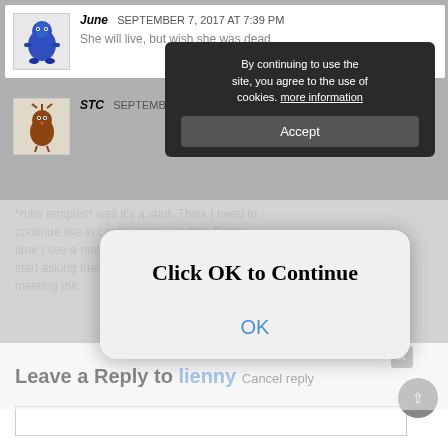[Figure (screenshot): Comment section with user 'June' posting on September 7, 2017 at 7:39 PM with avatar showing a blue character. Comment text partially visible: 'She will live, but wish she was dead']
[Figure (screenshot): Comment section with user 'STC' posting on September 8, 2017 at 8:56 AM with a brown character avatar]
*rubs temples* well it's a start. Think I need to imagine like in continuation like this. Every time I see a new female character I instantly start asking friend or the next person to regret meeting me.
Reply
By continuing to use the site, you agree to the use of cookies. more information
Accept
Click OK to Continue
OK
Leave a Reply to lienny Cancel reply
Reply